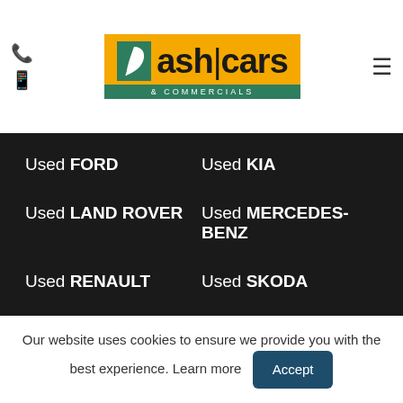[Figure (logo): Ash Cars & Commercials logo with leaf icon on orange background and green subtitle bar]
Used FORD
Used KIA
Used LAND ROVER
Used MERCEDES-BENZ
Used RENAULT
Used SKODA
Used TOYOTA
Used VOLKSWAGEN
QUICK NAV
Home
Cars
Vans
Sell Your Car
Our website uses cookies to ensure we provide you with the best experience. Learn more  Accept